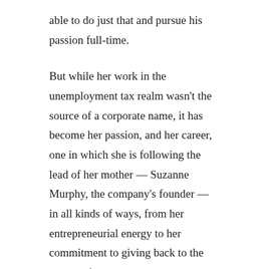able to do just that and pursue his passion full-time.
But while her work in the unemployment tax realm wasn't the source of a corporate name, it has become her passion, and her career, one in which she is following the lead of her mother — Suzanne Murphy, the company's founder — in all kinds of ways, from her entrepreneurial energy to her commitment to giving back to the community.
At UTCA, Avery handles a wide range of responsibilities, including client services, all aspects of the Claims department, various HR functions, and management-education seminars offered to every client. She also supports the business-development side of the organization.